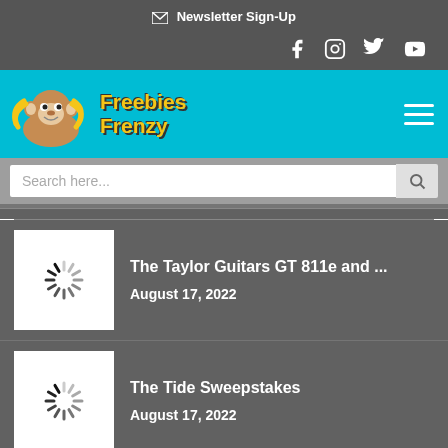✉ Newsletter Sign-Up
[Figure (logo): Social media icons: Facebook, Instagram, Twitter, YouTube]
[Figure (logo): Freebies Frenzy logo with cartoon monkey holding bananas and text 'Freebies Frenzy' in yellow]
Search here...
The Taylor Guitars GT 811e and ...
August 17, 2022
The Tide Sweepstakes
August 17, 2022